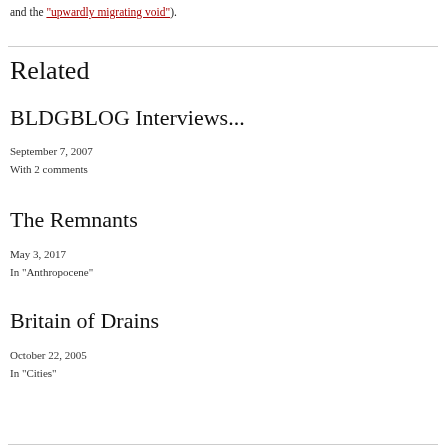and the “upwardly migrating void”).
Related
BLDGBLOG Interviews...
September 7, 2007
With 2 comments
The Remnants
May 3, 2017
In “Anthropocene”
Britain of Drains
October 22, 2005
In “Cities”